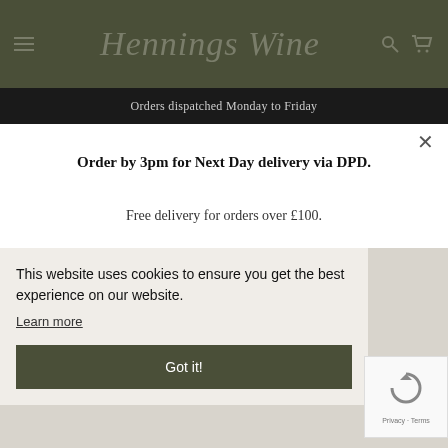Hennings Wine
Orders dispatched Monday to Friday
Order by 3pm for Next Day delivery via DPD.
Free delivery for orders over £100.
This website uses cookies to ensure you get the best experience on our website.
Learn more
Got it!